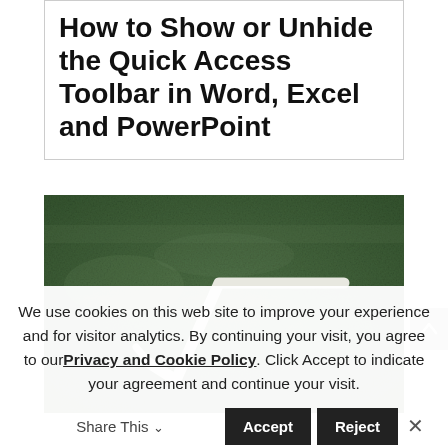How to Show or Unhide the Quick Access Toolbar in Word, Excel and PowerPoint
[Figure (photo): A green chalkboard with a white square root (radical) symbol drawn in chalk]
We use cookies on this web site to improve your experience and for visitor analytics. By continuing your visit, you agree to our Privacy and Cookie Policy. Click Accept to indicate your agreement and continue your visit.